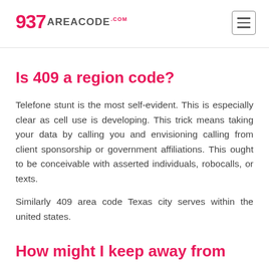937 AREACODE .com
Is 409 a region code?
Telefone stunt is the most self-evident. This is especially clear as cell use is developing. This trick means taking your data by calling you and envisioning calling from client sponsorship or government affiliations. This ought to be conceivable with asserted individuals, robocalls, or texts.
Similarly 409 area code Texas city serves within the united states.
How might I keep away from